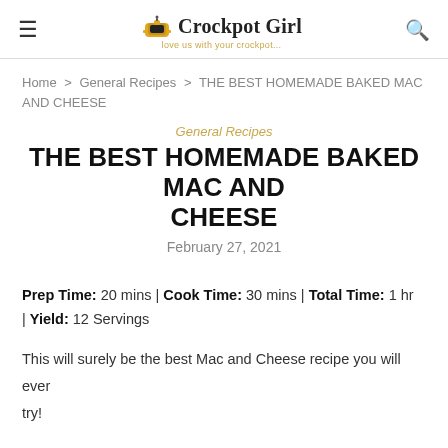Crockpot Girl
Home > General Recipes > THE BEST HOMEMADE BAKED MAC AND CHEESE
General Recipes
THE BEST HOMEMADE BAKED MAC AND CHEESE
February 27, 2021
Prep Time: 20 mins | Cook Time: 30 mins | Total Time: 1 hr | Yield: 12 Servings
This will surely be the best Mac and Cheese recipe you will ever try!